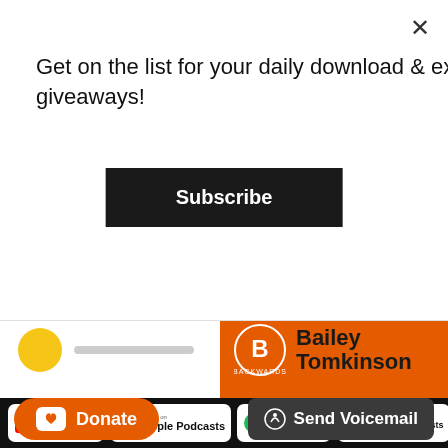Get on the list for your daily download & exclusive giveaways!
Subscribe
[Figure (screenshot): Podcast banner with yellow circle/progress bar on white left side and orange right side showing 'Bailey Tomkinson' text with circular logo]
[Figure (screenshot): Grid of podcast platform badges on black background: YouTube, Apple Podcasts, Spotify, Google Podcasts, Castro, RSS Feed, Pandora, Amazon Music, Audible, iHeartRadio, Stitcher, Soundcloud, Pocket Casts, TuneIn, RadioPublic, Deezer, Castbox, JioSaavn, Gaana, Podyssey]
Donate
Send Voicemail